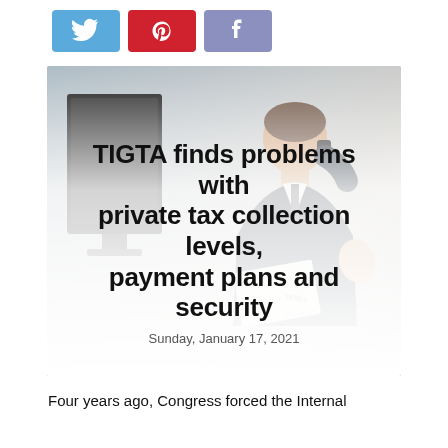[Figure (other): Social media share buttons: Twitter (blue bird), Pinterest (red P), Facebook (purple f)]
[Figure (photo): Businessman in suit talking on phone at desk with computer monitor, holding document with 'FINAL EMENT' text visible, blurred background]
TIGTA finds problems with private tax collection levels, payment plans and security
Sunday, January 17, 2021
Four years ago, Congress forced the Internal